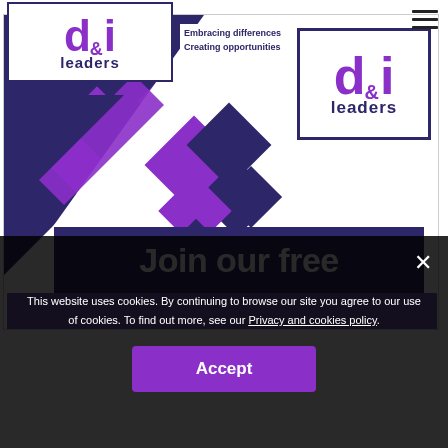[Figure (logo): d&i Leaders logo with tagline 'Embracing differences Creating opportunities' in header]
[Figure (illustration): Hero banner with geometric diamond shapes in purple and navy on white background, d&i Leaders logo box top right, 'Join our free' text banner in navy at bottom]
This website uses cookies. By continuing to browse our site you agree to our use of cookies. To find out more, see our Privacy and cookies policy.
Accept